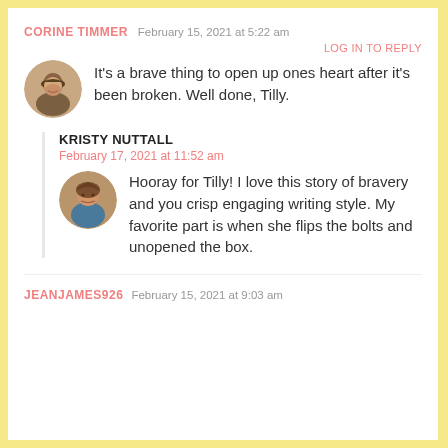CORINE TIMMER   February 15, 2021 at 5:22 am
LOG IN TO REPLY
[Figure (photo): Circular avatar photo of Corine Timmer, a woman with a hat smiling outdoors]
It’s a brave thing to open up ones heart after it’s been broken. Well done, Tilly.
KRISTY NUTTALL
February 17, 2021 at 11:52 am
[Figure (photo): Circular avatar photo of Kristy Nuttall, a woman with brown hair]
Hooray for Tilly! I love this story of bravery and you crisp engaging writing style. My favorite part is when she flips the bolts and unopened the box.
JEANJAMES926   February 15, 2021 at 9:03 am